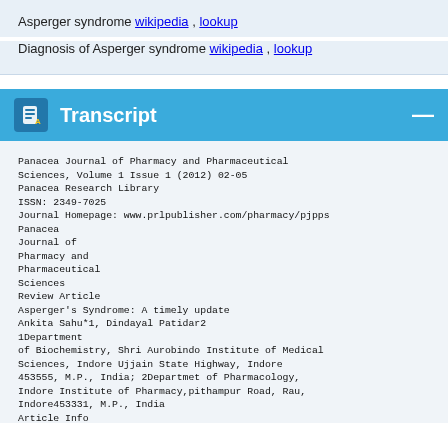Asperger syndrome wikipedia , lookup
Diagnosis of Asperger syndrome wikipedia , lookup
Transcript
Panacea Journal of Pharmacy and Pharmaceutical Sciences, Volume 1 Issue 1 (2012) 02-05
Panacea Research Library
ISSN: 2349-7025
Journal Homepage: www.prlpublisher.com/pharmacy/pjpps
Panacea
Journal of
Pharmacy and
Pharmaceutical
Sciences
Review Article
Asperger's Syndrome: A timely update
Ankita Sahu*1, Dindayal Patidar2
1Department
of Biochemistry, Shri Aurobindo Institute of Medical Sciences, Indore Ujjain State Highway, Indore 453555, M.P., India; 2Departmet of Pharmacology, Indore Institute of Pharmacy,pithampur Road, Rau, Indore453331, M.P., India
Article Info
Article history:
Received: 10 Oct 2012
Received in revised form: